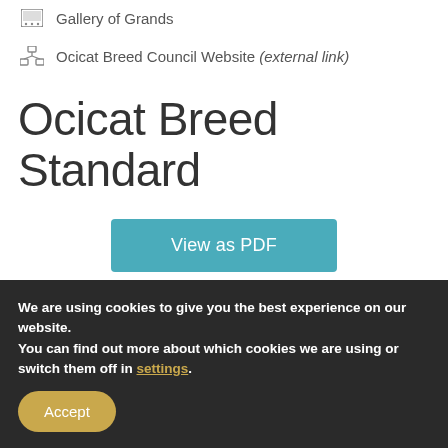Gallery of Grands
Ocicat Breed Council Website (external link)
Ocicat Breed Standard
[Figure (other): View as PDF button — teal/cyan rounded rectangle button]
POINT SCORE
We are using cookies to give you the best experience on our website.
You can find out more about which cookies we are using or switch them off in settings.
Accept